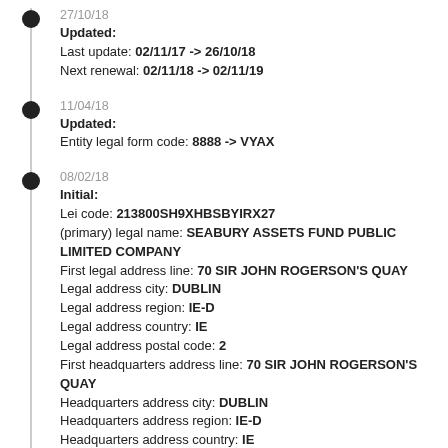27/10/18 Updated: Last update: 02/11/17 -> 26/10/18 Next renewal: 02/11/18 -> 02/11/19
11/04/18 Updated: Entity legal form code: 8888 -> VYAX
08/02/18 Initial: Lei code: 213800SH9XHBSBYIRX27 (primary) legal name: SEABURY ASSETS FUND PUBLIC LIMITED COMPANY First legal address line: 70 SIR JOHN ROGERSON'S QUAY Legal address city: DUBLIN Legal address region: IE-D Legal address country: IE Legal address postal code: 2 First headquarters address line: 70 SIR JOHN ROGERSON'S QUAY Headquarters address city: DUBLIN Headquarters address region: IE-D Headquarters address country: IE Headquarters address postal code: 2 Registered at: RA000402 Registered as: 477839 Jurisdiction of formation: IE